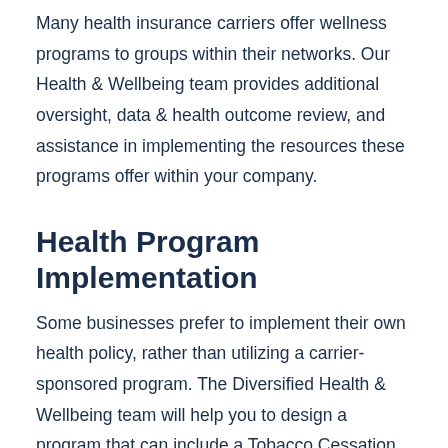Many health insurance carriers offer wellness programs to groups within their networks. Our Health & Wellbeing team provides additional oversight, data & health outcome review, and assistance in implementing the resources these programs offer within your company.
Health Program Implementation
Some businesses prefer to implement their own health policy, rather than utilizing a carrier-sponsored program. The Diversified Health & Wellbeing team will help you to design a program that can include a Tobacco Cessation Policy, Diabetes Management